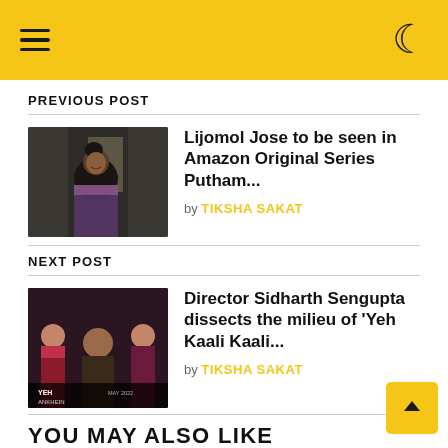Navigation menu and dark mode toggle
PREVIOUS POST
[Figure (photo): Thumbnail photo of a woman in traditional Indian attire, smiling near a window]
Lijomol Jose to be seen in Amazon Original Series Putham...
by TIKSHA SAKAT
NEXT POST
[Figure (photo): Movie poster for 'Yeh Kaali Kaali Ankhein' showing three people]
Director Sidharth Sengupta dissects the milieu of 'Yeh Kaali Kaali...
by TIKSHA SAKAT
YOU MAY ALSO LIKE